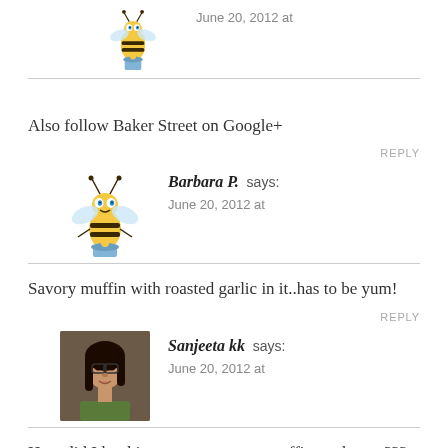[Figure (illustration): Cartoon bee avatar with flower pot, partially visible at top]
June 20, 2012 at
Also follow Baker Street on Google+
REPLY
[Figure (illustration): Cartoon bee avatar with flower pot]
Barbara P. says:
June 20, 2012 at
Savory muffin with roasted garlic in it..has to be yum!
REPLY
[Figure (photo): Photo of Sanjeeta kk - woman with dark hair]
Sanjeeta kk says:
June 20, 2012 at
How did I let this gorgeous savory muffin get by me??? It’s looks stunning and I would pop